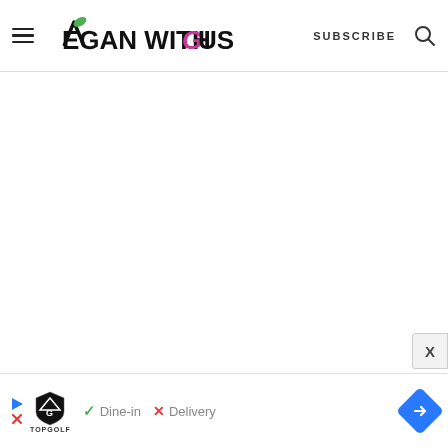Vegan With Gusto — SUBSCRIBE
[Figure (screenshot): White empty main content area of the Vegan With Gusto website]
[Figure (infographic): Advertisement bar: Topgolf logo with play icon, checkmark Dine-in, X Delivery, blue diamond arrow button]